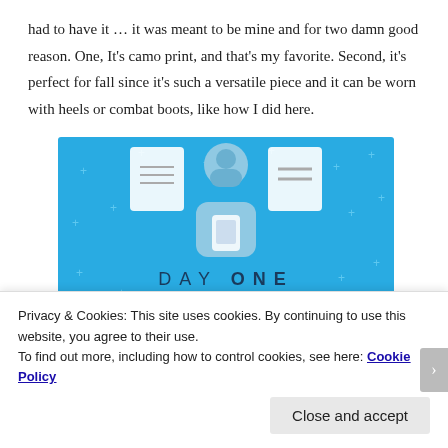had to have it … it was meant to be mine and for two damn good reason. One, It's camo print, and that's my favorite. Second, it's perfect for fall since it's such a versatile piece and it can be worn with heels or combat boots, like how I did here.
[Figure (illustration): Blue background advertisement for 'DAY ONE' journaling app. Shows an illustrated person holding a phone, with icons above. Text reads 'DAY ONE' and 'The only journaling app you'll ever need.' with a dark button below.]
Privacy & Cookies: This site uses cookies. By continuing to use this website, you agree to their use.
To find out more, including how to control cookies, see here: Cookie Policy
Close and accept